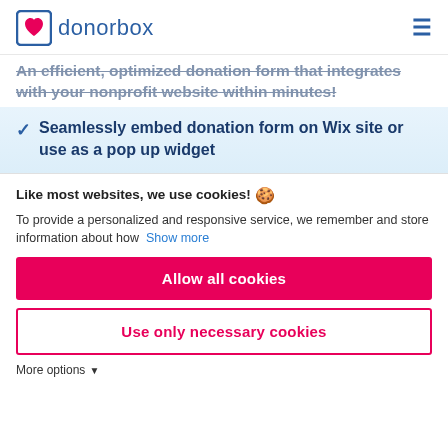[Figure (logo): Donorbox logo with heart icon and blue text]
An efficient, optimized donation form that integrates with your nonprofit website within minutes!
Seamlessly embed donation form on Wix site or use as a pop up widget
Like most websites, we use cookies! 🍪
To provide a personalized and responsive service, we remember and store information about how  Show more
Allow all cookies
Use only necessary cookies
More options ▾